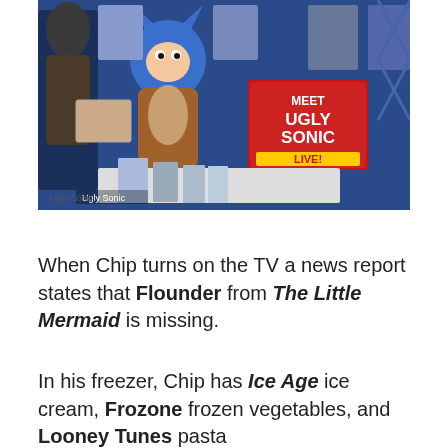[Figure (photo): A convention booth display with an 'Ugly Sonic' character costumed figure and merchandise photos on a blue backdrop. A sign reads 'MEET UGLY SONIC LIVE!' A caption at the bottom left reads 'Ugly Sonic'.]
Ugly Sonic
When Chip turns on the TV a news report states that Flounder from The Little Mermaid is missing.
In his freezer, Chip has Ice Age ice cream, Frozone frozen vegetables, and Looney Tunes pasta